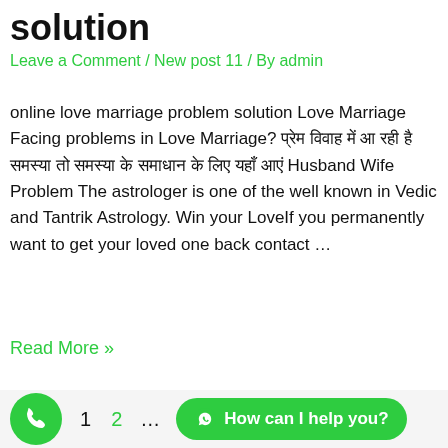solution
Leave a Comment / New post 11 / By admin
online love marriage problem solution Love Marriage Facing problems in Love Marriage? प्रेम विवाह में आ रही है समस्या तो समस्या के समाधान के लिए यहाँ आएं Husband Wife Problem The astrologer is one of the well known in Vedic and Tantrik Astrology. Win your LoveIf you permanently want to get your loved one back contact …
Read More »
1  2  ...  Next Page